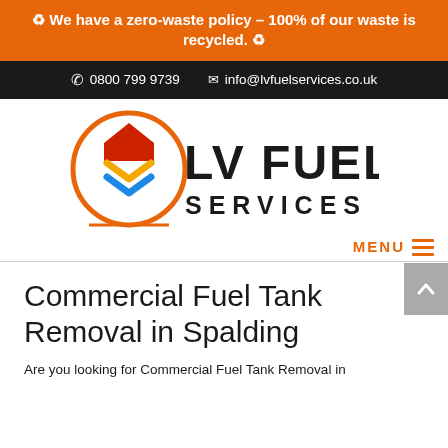♻ We have a zero-waste policy – 100% of our waste is recycled. ♻
☎ 0800 799 9739  ✉ info@lvfuelservices.co.uk
[Figure (logo): LV Fuel Services logo with circular emblem containing house and chevron shapes in red, yellow, and blue, beside bold text LV FUEL SERVICES]
MENU ≡
Commercial Fuel Tank Removal in Spalding
Are you looking for Commercial Fuel Tank Removal in